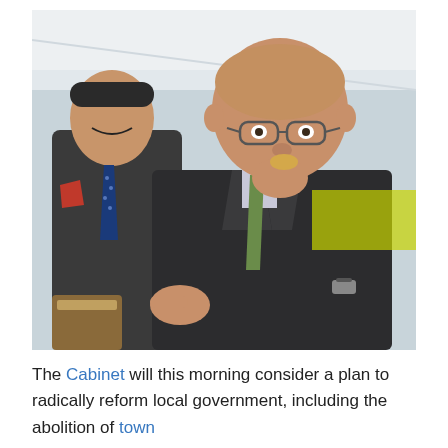[Figure (photo): Two men in business suits at an event under a marquee tent. The main figure in the foreground is a bald man wearing glasses and a dark suit with a green tie, eating something. Behind him is another man in a dark suit with a blue polka-dot tie, smiling.]
The Cabinet will this morning consider a plan to radically reform local government, including the abolition of town